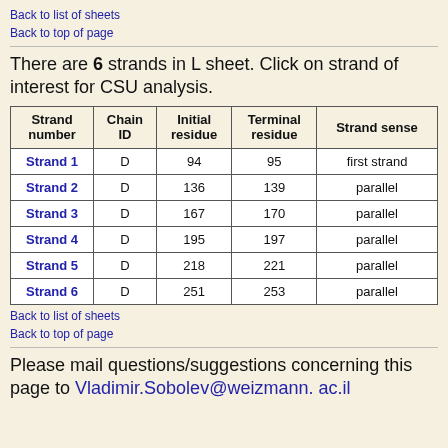Back to list of sheets
Back to top of page
There are 6 strands in L sheet. Click on strand of interest for CSU analysis.
| Strand number | Chain ID | Initial residue | Terminal residue | Strand sense |
| --- | --- | --- | --- | --- |
| Strand 1 | D | 94 | 95 | first strand |
| Strand 2 | D | 136 | 139 | parallel |
| Strand 3 | D | 167 | 170 | parallel |
| Strand 4 | D | 195 | 197 | parallel |
| Strand 5 | D | 218 | 221 | parallel |
| Strand 6 | D | 251 | 253 | parallel |
Back to list of sheets
Back to top of page
Please mail questions/suggestions concerning this page to Vladimir.Sobolev@weizmann. ac.il